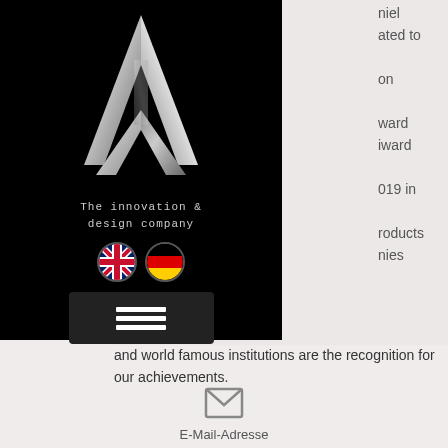[Figure (logo): Arrow/chevron logo in silver/chrome on black background. Text below reads 'The innovation & design company']
[Figure (other): Two circular flag icons: UK flag and German flag]
[Figure (other): Hamburger menu button (three horizontal white lines on dark background)]
and world famous institutions are the recognition for our achievements.
Confidentiality during and after the duration of our projects has always been and remains our top priority.
E-Mail-Adresse